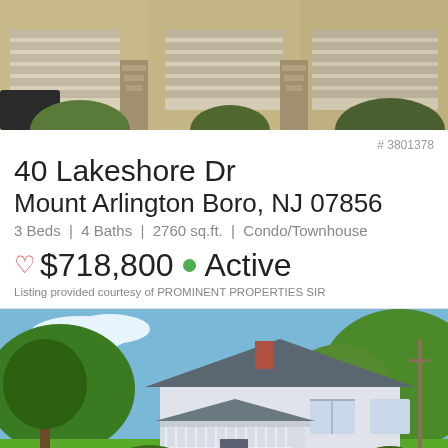[Figure (photo): Exterior photo of townhouse/condo complex with garage doors and stairs, tan/beige siding]
# 3801378
40 Lakeshore Dr
Mount Arlington Boro, NJ 07856
3 Beds | 4 Baths | 2760 sq.ft. | Condo/Townhouse
♡ $718,800 • Active
Listing provided courtesy of PROMINENT PROPERTIES SIR
[Figure (photo): Exterior photo of a white single-family house with front porch and green lawn on a sunny day]